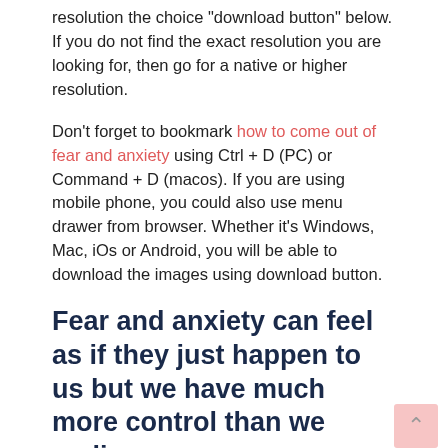Download this image for free in High Definition resolution the choice "download button" below. If you do not find the exact resolution you are looking for, then go for a native or higher resolution.
Don't forget to bookmark how to come out of fear and anxiety using Ctrl + D (PC) or Command + D (macos). If you are using mobile phone, you could also use menu drawer from browser. Whether it's Windows, Mac, iOs or Android, you will be able to download the images using download button.
Fear and anxiety can feel as if they just happen to us but we have much more control than we realize.